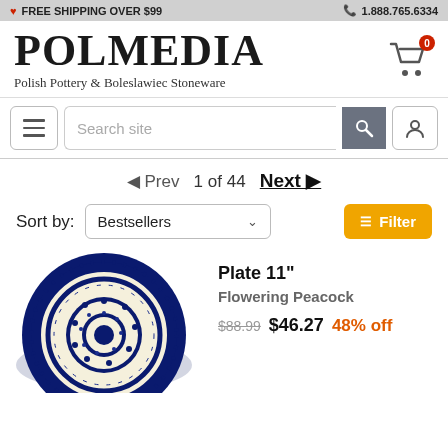FREE SHIPPING OVER $99 | 1.888.765.6334
POLMEDIA
Polish Pottery & Boleslawiec Stoneware
Search site
◄ Prev  1 of 44  Next ►
Sort by: Bestsellers  Filter
[Figure (photo): A blue and white Polish pottery plate with Flowering Peacock pattern, circular with decorative floral and dot design]
Plate 11"
Flowering Peacock
$88.99  $46.27  48% off